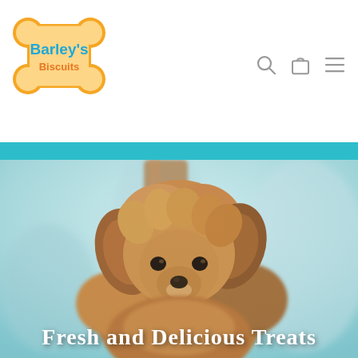[Figure (logo): Barley's Biscuits logo — bone-shaped graphic with orange/yellow border, blue text 'Barley's' and orange text 'Biscuits']
[Figure (other): Navigation icons: magnifying glass (search), bag/cart, and hamburger menu lines, in gray]
[Figure (photo): Fluffy golden/brown puppy (poodle mix) sitting outdoors against a wooden post with a blurred teal-blue background]
Fresh and Delicious Treats